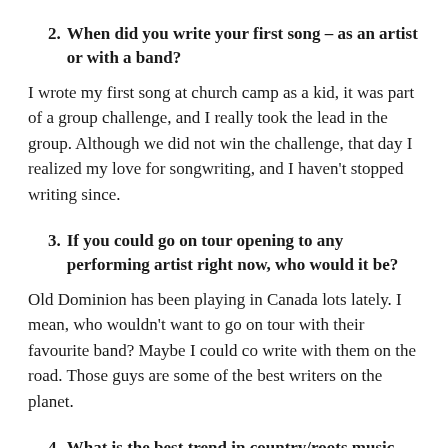2. When did you write your first song – as an artist or with a band?
I wrote my first song at church camp as a kid, it was part of a group challenge, and I really took the lead in the group. Although we did not win the challenge, that day I realized my love for songwriting, and I haven't stopped writing since.
3. If you could go on tour opening to any performing artist right now, who would it be?
Old Dominion has been playing in Canada lots lately. I mean, who wouldn't want to go on tour with their favourite band? Maybe I could co write with them on the road. Those guys are some of the best writers on the planet.
4. What is the best trend in country/roots music right now?